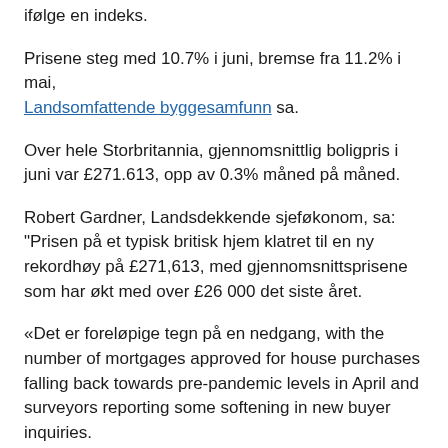ifølge en indeks.
Prisene steg med 10.7% i juni, bremse fra 11.2% i mai, Landsomfattende byggesamfunn sa.
Over hele Storbritannia, gjennomsnittlig boligpris i juni var £271.613, opp av 0.3% måned på måned.
Robert Gardner, Landsdekkende sjeføkonom, sa: "Prisen på et typisk britisk hjem klatret til en ny rekordhøy på £271,613, med gjennomsnittsprisene som har økt med over £26 000 det siste året.
«Det er foreløpige tegn på en nedgang, with the number of mortgages approved for house purchases falling back towards pre-pandemic levels in April and surveyors reporting some softening in new buyer inquiries.